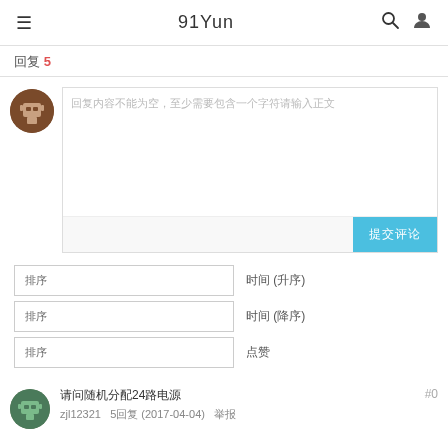91Yun
回复 5
[Figure (screenshot): Comment compose box with avatar, text area placeholder showing Chinese characters, and a blue submit button]
排序  时间 (升序)
排序  时间 (降序)
排序  点赞
请问随机分配24路电源
zjl12321   5回复 (2017-04-04)   举报   #0